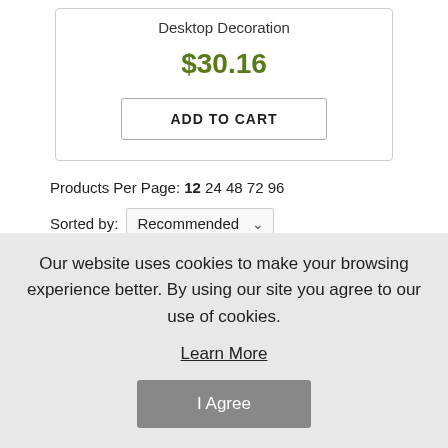Desktop Decoration
$30.16
ADD TO CART
Products Per Page: 12 24 48 72 96
Sorted by: Recommended
Pages: 1 2 3 >
Our website uses cookies to make your browsing experience better. By using our site you agree to our use of cookies.
Learn More
I Agree